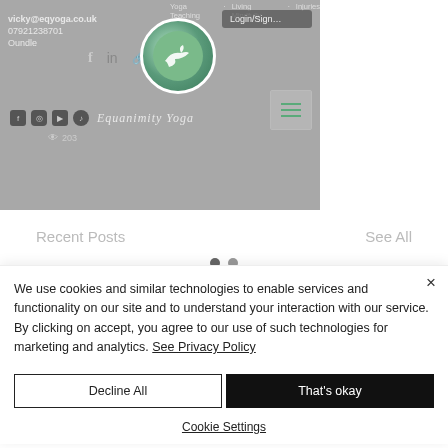[Figure (screenshot): Yoga website header with logo avatar, social icons, brand name Equanimity Yoga, contact info, and hamburger menu]
Recent Posts
See All
[Figure (photo): Strip of yoga mat images partially visible]
We use cookies and similar technologies to enable services and functionality on our site and to understand your interaction with our service. By clicking on accept, you agree to our use of such technologies for marketing and analytics. See Privacy Policy
Decline All
That's okay
Cookie Settings